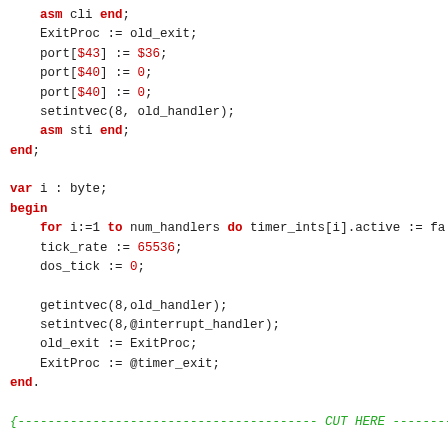asm cli end;
    ExitProc := old_exit;
    port[$43] := $36;
    port[$40] := 0;
    port[$40] := 0;
    setintvec(8, old_handler);
    asm sti end;
end;

var i : byte;
begin
    for i:=1 to num_handlers do timer_ints[i].active := fa
    tick_rate := 65536;
    dos_tick := 0;

    getintvec(8,old_handler);
    setintvec(8,@interrupt_handler);
    old_exit := ExitProc;
    ExitProc := @timer_exit;
end.

{---------------------------------------- CUT HERE ---------

program timertst;

uses timerint, crt;

procedure toggle_light(x, y: byte);
const screen = $B800;
      lchr   = $0CFF;